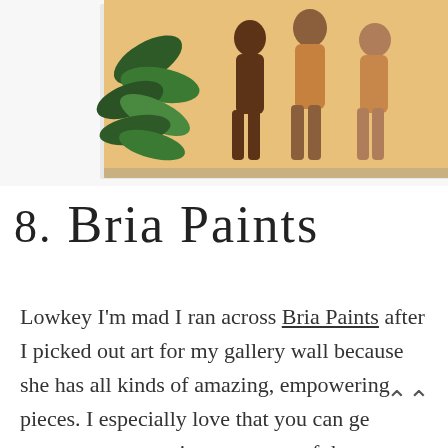[Figure (illustration): Illustration showing figures of women with tropical green leaves on a warm beige/tan background, displayed as a canvas print propped up.]
8. Bria Paints
Lowkey I'm mad I ran across Bria Paints after I picked out art for my gallery wall because she has all kinds of amazing, empowering pieces. I especially love that you can ge some canvases as is or as a sets of three you can have a more customized piece for your space.